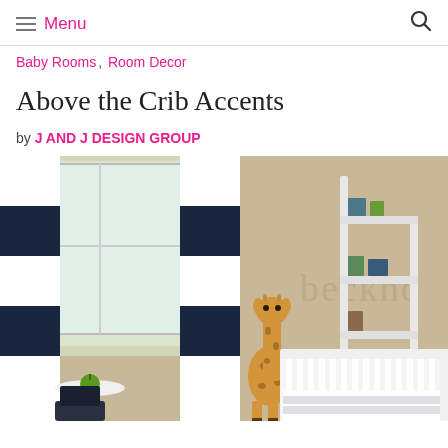Menu  🔍
Baby Rooms, Room Decor
Above the Crib Accents
by J AND J DESIGN GROUP
[Figure (photo): Baby nursery room with black and white striped curtains, a white crib, a giraffe stuffed animal, a white ladder bookshelf with books and decor, and the name 'beckh...' written on a beige wall.]